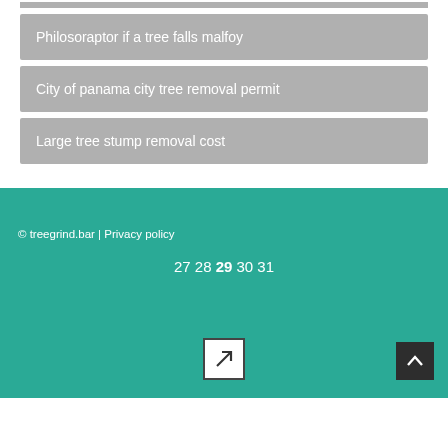Philosoraptor if a tree falls malfoy
City of panama city tree removal permit
Large tree stump removal cost
© treegrind.bar | Privacy policy
27 28 29 30 31